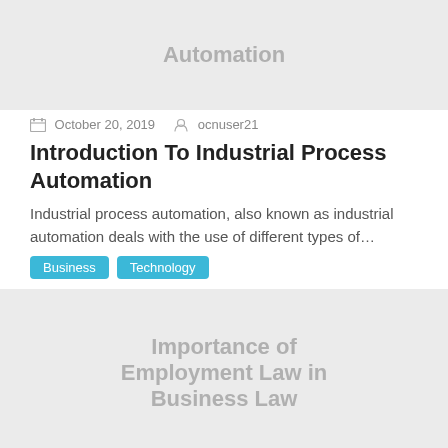[Figure (illustration): Gray placeholder image with text 'Automation' centered]
October 20, 2019   ocnuser21
Introduction To Industrial Process Automation
Industrial process automation, also known as industrial automation deals with the use of different types of…
Business
Technology
[Figure (illustration): Gray placeholder image with text 'Importance of Employment Law in Business Law' centered]
April 24, 2015   ocuser4